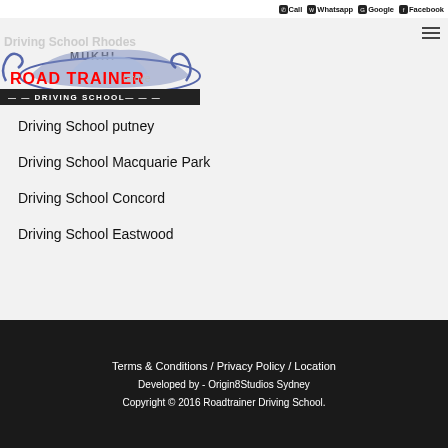Call  Whatsapp  Google  Facebook
[Figure (logo): Mukhi Road Trainer Driving School logo with car silhouette and dark banner]
Driving School putney
Driving School Macquarie Park
Driving School Concord
Driving School Eastwood
Terms & Conditions / Privacy Policy / Location
Developed by - Origin8Studios Sydney
Copyright © 2016 Roadtrainer Driving School.